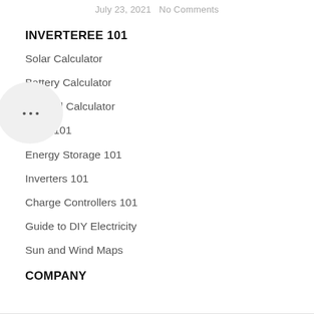July 23, 2021   No Comments
INVERTEREE 101
Solar Calculator
Battery Calculator
Off Grid Calculator
Solar 101
Energy Storage 101
Inverters 101
Charge Controllers 101
Guide to DIY Electricity
Sun and Wind Maps
COMPANY